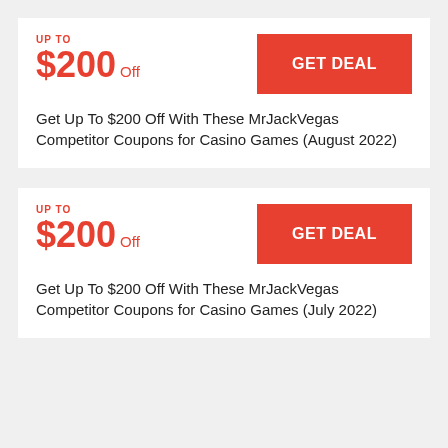UP TO
$200 Off
GET DEAL
Get Up To $200 Off With These MrJackVegas Competitor Coupons for Casino Games (August 2022)
UP TO
$200 Off
GET DEAL
Get Up To $200 Off With These MrJackVegas Competitor Coupons for Casino Games (July 2022)